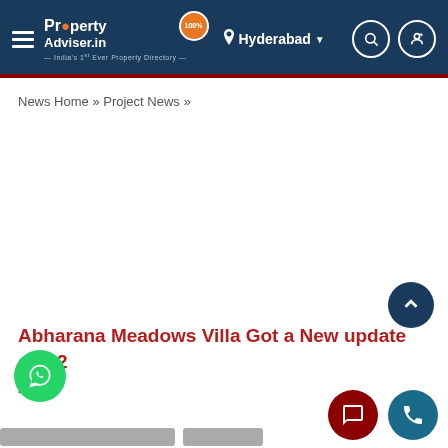PropertyAdviser.in — Hyderabad
News Home » Project News »
Abharana Meadows Villa Got a New update on 22 2019